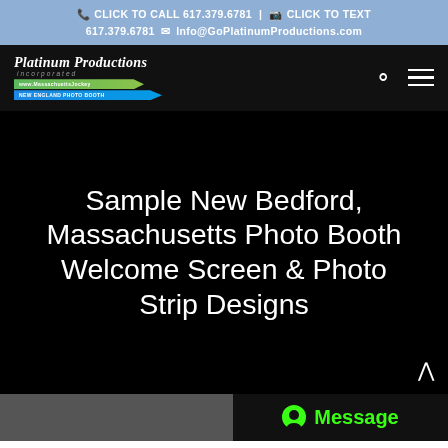CLICK TO CALL 617.379.6781 | CLICK TO TEXT 617.379.6781   Info@GoPlatinumProductions.com
[Figure (logo): Platinum Productions Incorporated logo with green and blue banner badges]
Sample New Bedford, Massachusetts Photo Booth Welcome Screen & Photo Strip Designs
Message